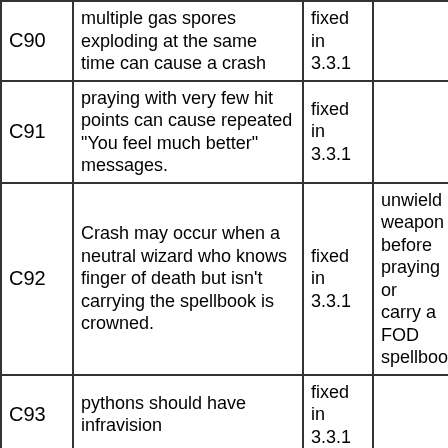| Code | Description | Status | Workaround |
| --- | --- | --- | --- |
| C90 | multiple gas spores exploding at the same time can cause a crash | fixed in 3.3.1 |  |
| C91 | praying with very few hit points can cause repeated "You feel much better" messages. | fixed in 3.3.1 |  |
| C92 | Crash may occur when a neutral wizard who knows finger of death but isn't carrying the spellbook is crowned. | fixed in 3.3.1 | unwield weapon before praying or carry a FOD spellbook |
| C93 | pythons should have infravision | fixed in 3.3.1 |  |
| C94 | similar greased and non-greased items will merge | fixed in 3.3.1 |  |
| C95 | monster reading scrol of earth may get an extra attack | fixed in 3.3.1 |  |
| C96 | thrown weapons fire one at a time regardless of skill | fixed in 3.3.1 |  |